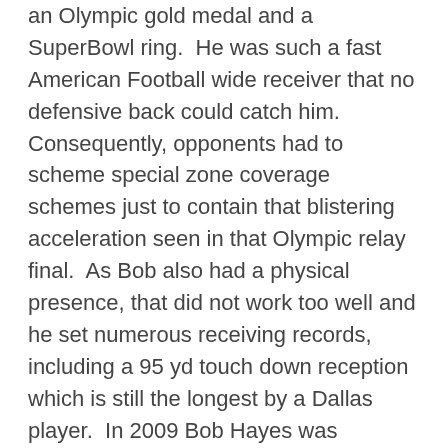an Olympic gold medal and a SuperBowl ring.  He was such a fast American Football wide receiver that no defensive back could catch him.  Consequently, opponents had to scheme special zone coverage schemes just to contain that blistering acceleration seen in that Olympic relay final.  As Bob also had a physical presence, that did not work too well and he set numerous receiving records, including a 95 yd touch down reception which is still the longest by a Dallas player.  In 2009 Bob Hayes was posthumously inducted into the NFL Hall of Fame.